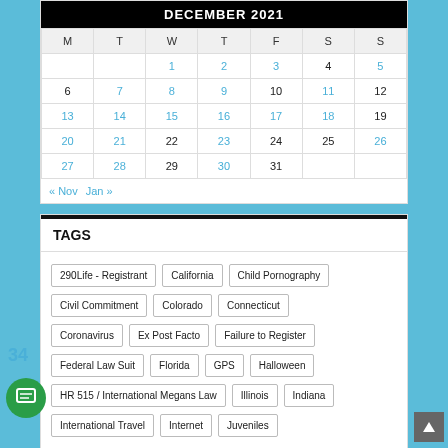| M | T | W | T | F | S | S |
| --- | --- | --- | --- | --- | --- | --- |
|  |  | 1 | 2 | 3 | 4 | 5 |
| 6 | 7 | 8 | 9 | 10 | 11 | 12 |
| 13 | 14 | 15 | 16 | 17 | 18 | 19 |
| 20 | 21 | 22 | 23 | 24 | 25 | 26 |
| 27 | 28 | 29 | 30 | 31 |  |  |
« Nov   Jan »
TAGS
290Life - Registrant
California
Child Pornography
Civil Commitment
Colorado
Connecticut
Coronavirus
Ex Post Facto
Failure to Register
Federal Law Suit
Florida
GPS
Halloween
HR 515 / International Megans Law
Illinois
Indiana
International Travel
Internet
Juveniles